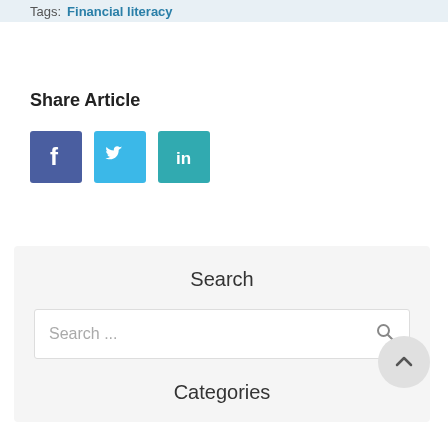Tags:  Financial literacy
Share Article
[Figure (other): Social share buttons: Facebook, Twitter, LinkedIn icons]
Search
Search ...
Categories